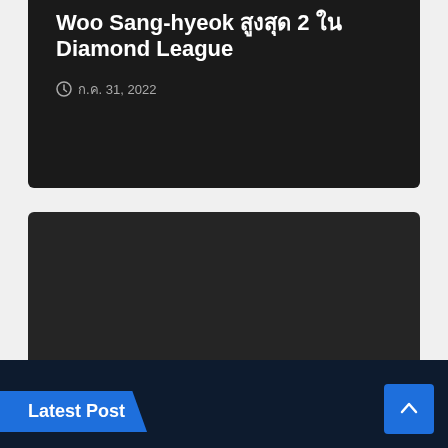Woo Sang-hyeok 우상혁 2 위 Diamond League
ก.ค. 31, 2022
GAMES HOW TO
Saints Row: วิธีปลดล็อคทุกยานพาหนะในเกม
ก.ค. 29, 2022
Latest Post